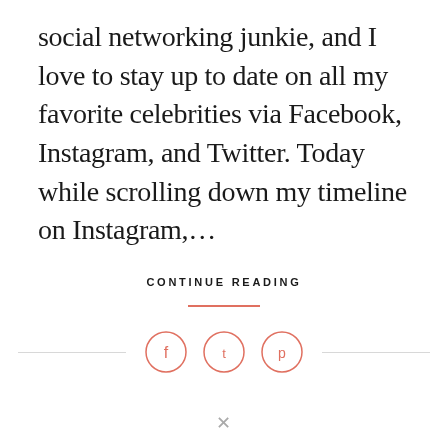social networking junkie, and I love to stay up to date on all my favorite celebrities via Facebook, Instagram, and Twitter. Today while scrolling down my timeline on Instagram,…
CONTINUE READING
[Figure (other): Social sharing icons row: Facebook, Twitter, Pinterest circles with horizontal divider lines on each side]